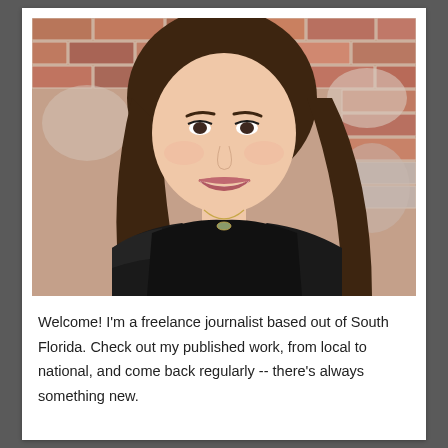[Figure (photo): Portrait photo of a young woman with long brown hair, smiling, wearing a black top with a gold necklace, standing in front of a brick wall.]
Welcome! I'm a freelance journalist based out of South Florida. Check out my published work, from local to national, and come back regularly -- there's always something new.